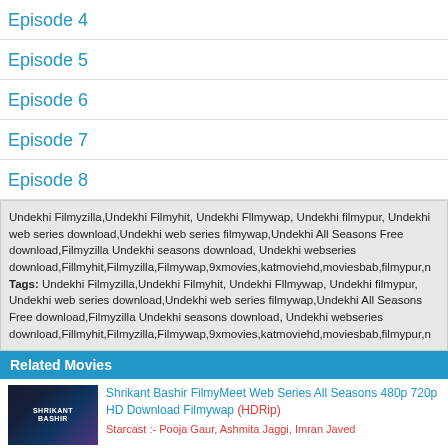Episode 4
Episode 5
Episode 6
Episode 7
Episode 8
Undekhi Filmyzilla,Undekhi Filmyhit, Undekhi Fllmywap, Undekhi filmypur, Undekhi web series download,Undekhi web series filmywap,Undekhi All Seasons Free download,Filmyzilla Undekhi seasons download, Undekhi webseries download,Fillmyhit,Filmyzilla,Filmywap,9xmovies,katmoviehd,moviesbab,filmypur,n Tags: Undekhi Filmyzilla,Undekhi Filmyhit, Undekhi Fllmywap, Undekhi filmypur, Undekhi web series download,Undekhi web series filmywap,Undekhi All Seasons Free download,Filmyzilla Undekhi seasons download, Undekhi webseries download,Fillmyhit,Filmyzilla,Filmywap,9xmovies,katmoviehd,moviesbab,filmypur,n
Related Movies
Shrikant Bashir FilmyMeet Web Series All Seasons 480p 720p HD Download Filmywap (HDRip)
Starcast :- Pooja Gaur, Ashmita Jaggi, Imran Javed